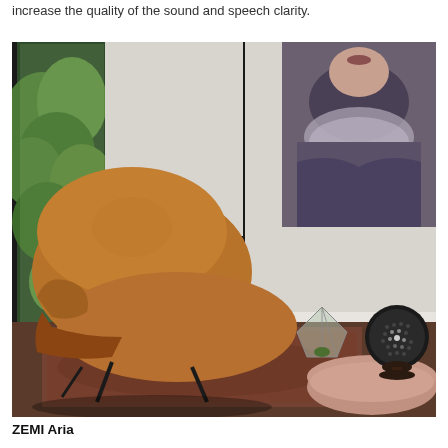increase the quality of the sound and speech clarity.
[Figure (photo): Interior living room scene featuring a tan/cognac leather Eames lounge chair and ottoman on a patterned rug. A tall minimalist floor lamp stands in the center. On the right side, a geometric glass terrarium and a spherical speaker (ZEMI Aria) sit on a surface. In the background, large windows show green foliage on the left, and a large portrait painting of a person hangs on the right wall.]
ZEMI Aria